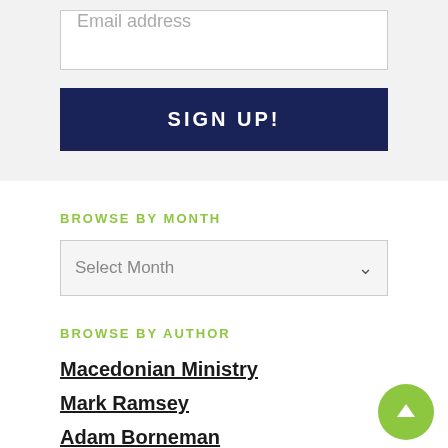Email address
SIGN UP!
BROWSE BY MONTH
Select Month
BROWSE BY AUTHOR
Macedonian Ministry
Mark Ramsey
Adam Borneman
Adam Mixon